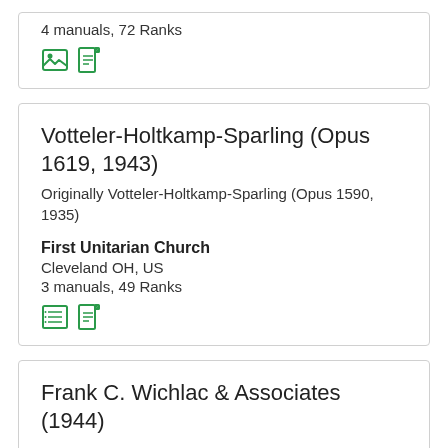4 manuals, 72 Ranks
[Figure (illustration): Two green icons: image/photo icon and document icon]
Votteler-Holtkamp-Sparling (Opus 1619, 1943)
Originally Votteler-Holtkamp-Sparling (Opus 1590, 1935)
First Unitarian Church
Cleveland OH, US
3 manuals, 49 Ranks
[Figure (illustration): Two green icons: list icon and document icon]
Frank C. Wichlac & Associates (1944)
Fifteenth Church of Christ, Scientist
Chicago IL, US